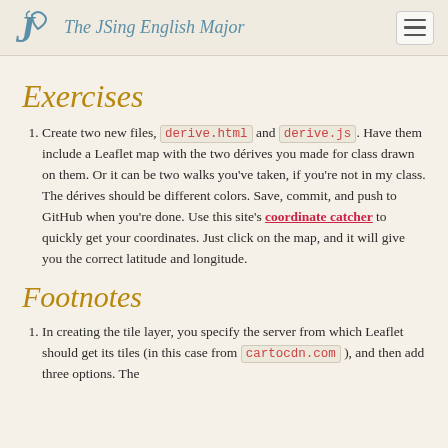The JSing English Major
Exercises
Create two new files, derive.html and derive.js. Have them include a Leaflet map with the two dérives you made for class drawn on them. Or it can be two walks you've taken, if you're not in my class. The dérives should be different colors. Save, commit, and push to GitHub when you're done. Use this site's coordinate catcher to quickly get your coordinates. Just click on the map, and it will give you the correct latitude and longitude.
Footnotes
In creating the tile layer, you specify the server from which Leaflet should get its tiles (in this case from cartocdn.com ), and then add three options. The